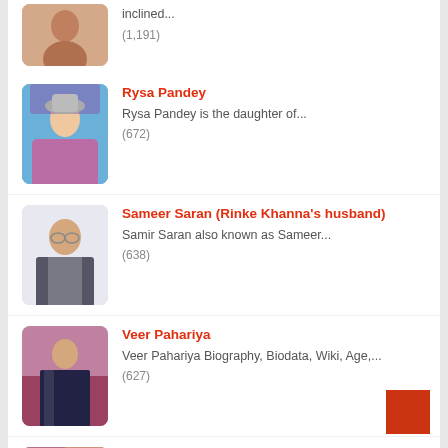inclined... (1,191)
Rysa Pandey — Rysa Pandey is the daughter of... (672)
Sameer Saran (Rinke Khanna's husband) — Samir Saran also known as Sameer... (638)
Veer Pahariya — Veer Pahariya Biography, Biodata, Wiki, Age,... (627)
Top 20 Hottest Sports Women in India — They have looks as well as... (561)